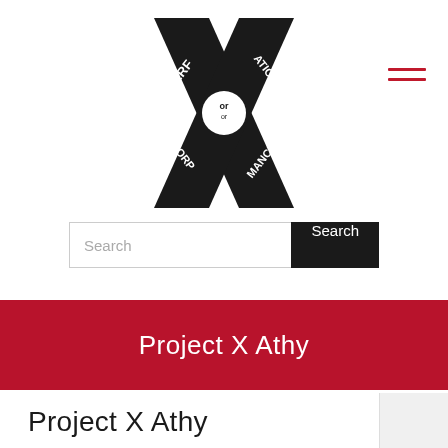[Figure (logo): The Performance or Corporation X-shaped logo with text arranged in crossing diagonal bands: PERF, OR, ATION on one band and CORP, OR, MANCE on the other, forming an X shape. Small text reads 'THE' at top.]
[Figure (infographic): Hamburger menu icon with two red horizontal lines]
Search
Project X Athy
Project X Athy